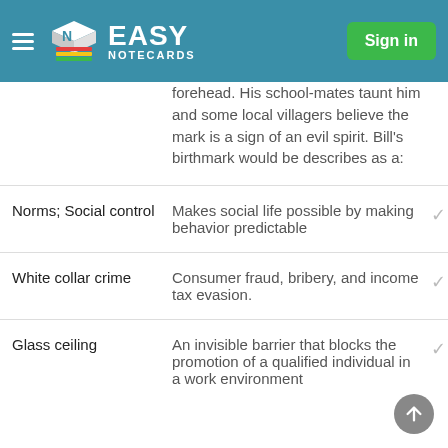Easy Notecards | Sign in
forehead. His school-mates taunt him and some local villagers believe the mark is a sign of an evil spirit. Bill's birthmark would be describes as a:
| Term | Definition |  |
| --- | --- | --- |
| Norms; Social control | Makes social life possible by making behavior predictable | ✓ |
| White collar crime | Consumer fraud, bribery, and income tax evasion. | ✓ |
| Glass ceiling | An invisible barrier that blocks the promotion of a qualified individual in a work environment | ✓ |